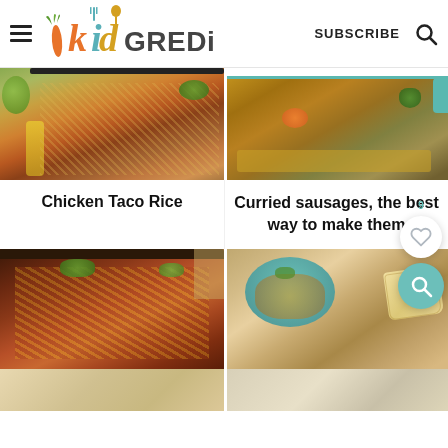kidGREDiENTS | SUBSCRIBE
[Figure (photo): Chicken Taco Rice dish in a dark skillet with avocado and colorful garnishes visible]
[Figure (photo): Curried sausages dish in a white and teal pot with carrots and broccoli visible]
Chicken Taco Rice
Curried sausages, the best way to make them
[Figure (photo): Lentil or bean chili in a dark pan with corn, garnished with cilantro, with pasta visible in the background]
[Figure (photo): Chicken or potato dish in a teal bowl with bread/flatbread on the side]
[Figure (photo): Partial view of another dish at the bottom of the page]